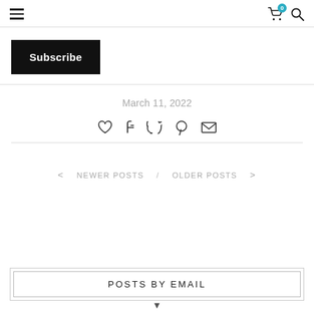Navigation header with hamburger menu, cart icon (badge: 0), and search icon
Subscribe
March 11, 2022
[Figure (infographic): Social share icons: heart, facebook, twitter, pinterest, email]
< NEWER POSTS / OLDER POSTS >
POSTS BY EMAIL